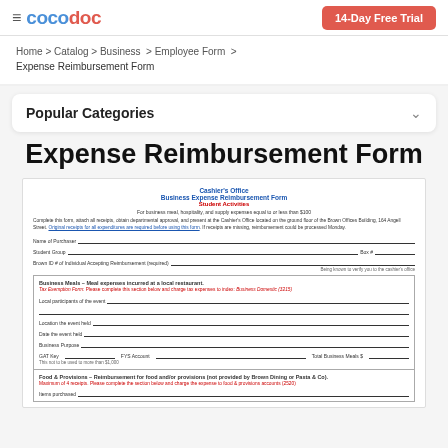≡ cocodoc | 14-Day Free Trial
Home > Catalog > Business > Employee Form > Expense Reimbursement Form
Popular Categories
Expense Reimbursement Form
[Figure (other): Preview of a Business Expense Reimbursement Form from the Cashier's Office for Student Activities. The form includes fields for Name of Purchaser, Student Group, Box #, Brown ID of Individual Accepting Reimbursement, sections for Business Meals and Food & Provisions with instructions and signature lines.]